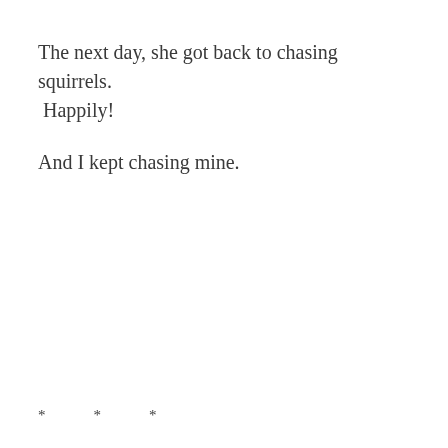The next day, she got back to chasing squirrels. Happily!
And I kept chasing mine.
*        *        *